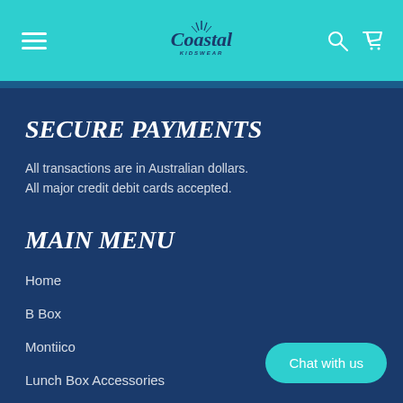Coastal — header navigation with hamburger menu, logo, search and cart icons
SECURE PAYMENTS
All transactions are in Australian dollars.
All major credit debit cards accepted.
MAIN MENU
Home
B Box
Montiico
Lunch Box Accessories
Drink Bottles